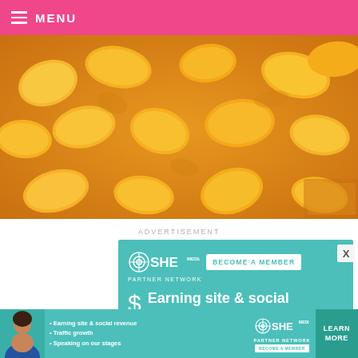MENU
[Figure (photo): Close-up photo of glazed peach slices in a baking dish, golden yellow with caramel sauce]
ADVERTISEMENT
[Figure (infographic): SHE Media Partner Network advertisement banner. Teal background. Includes SHE Media logo, 'BECOME A MEMBER' button, dollar sign icon, and text 'Earning site & social revenue']
[Figure (infographic): Bottom banner ad: SHE Media Partner Network. Bullet points: Earning site & social revenue, Traffic growth, Speaking on our stages. LEARN MORE button. Woman avatar on left.]